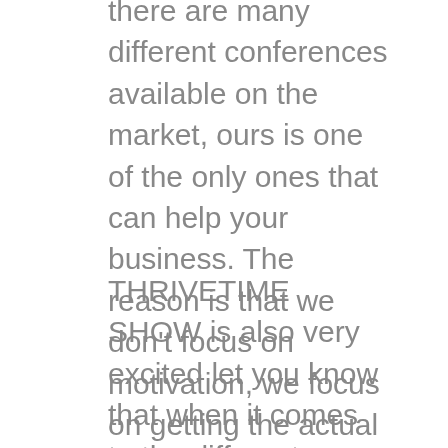there are many different conferences available on the market, ours is one of the only ones that can help your business. The reason is that we don't focus on motivation, we focus on getting the actual tools. Imagine being a builder and someone telling you that you can build a house, but they never actually give you a hammer and nails. We give you a hammer the nail. We truly show you not only the path gives you the tools to get there. You will follow our proven 13 step path growing your business. Contact us today to reserve your spot.
THRIVETIME SHOW is also very excited let you know that when it comes to the different business conferences that are available market, our Consistently. We do our business conferences every two months. We are very intentional about this because we wanted to make sure that if an entrepreneur couldn't make it to one in can make it to another. Our next conference is actually on February 21 and 22nd, 2020. This is an incredible time that you will not want to miss out on. It's a time where